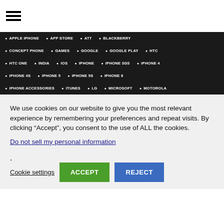[Figure (other): Hamburger menu icon (three horizontal lines)]
APPLE IPHONE
APP STORE
ATT
BLACKBERRY
CONCEPT PHONE
GAMES
GOOGLE
GOOGLE PLAY
HTC
HTC ONE
INDIA
IOS
IPHONE
IPHONE 3GS
IPHONE 4
IPHONE 4S
IPHONE 5
IPHONE 5S
IPHONE 6
IPHONE ACCESSORIES
ITUNES
LG
MICROSOFT
MOTOROLA
We use cookies on our website to give you the most relevant experience by remembering your preferences and repeat visits. By clicking “Accept”, you consent to the use of ALL the cookies.
Do not sell my personal information.
Cookie settings  ACCEPT  REJECT